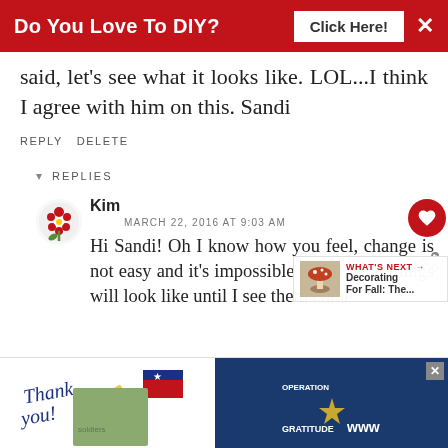[Figure (screenshot): Red advertisement banner: 'Do You Love To DIY? Click Here!' with close X button]
said, let's see what it looks like. LOL...I think I agree with him on this. Sandi
REPLY DELETE
▾ REPLIES
Kim
MARCH 22, 2016 AT 9:03 AM
Hi Sandi! Oh I know how you feel, change is not easy and it's impossible to tell what things will look like until I see them come
[Figure (screenshot): Bottom advertisement banner featuring 'Thank you' handwritten text with American flag imagery and Operation Gratitude logo]
[Figure (screenshot): WHAT'S NEXT → Decorating For Fall: The... sidebar widget with thumbnail image]